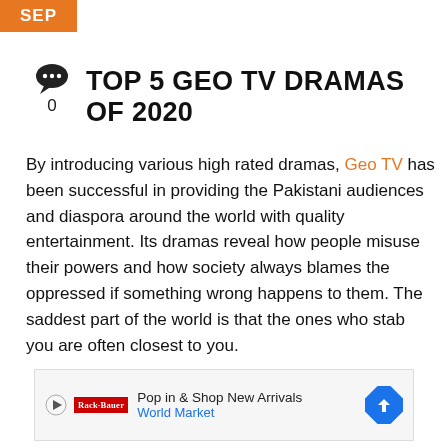SEP
[Figure (illustration): Chat bubble icon with comment count 0 below it]
TOP 5 GEO TV DRAMAS OF 2020
By introducing various high rated dramas, Geo TV has been successful in providing the Pakistani audiences and diaspora around the world with quality entertainment. Its dramas reveal how people misuse their powers and how society always blames the oppressed if something wrong happens to them. The saddest part of the world is that the ones who stab you are often closest to you.
[Figure (screenshot): Advertisement banner: Pop in & Shop New Arrivals - World Market, with play icon, brand logo, and direction arrow icon]